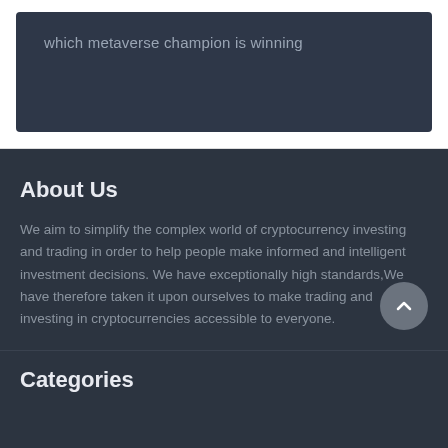which metaverse champion is winning
About Us
We aim to simplify the complex world of cryptocurrency investing and trading in order to help people make informed and intelligent investment decisions. We have exceptionally high standards,We have therefore taken it upon ourselves to make trading and investing in cryptocurrencies accessible to everyone.
Categories